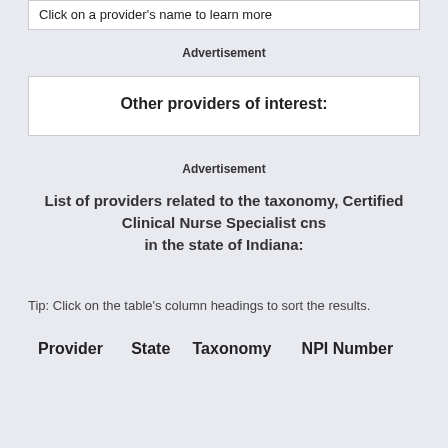Click on a provider's name to learn more
Advertisement
Other providers of interest:
Advertisement
List of providers related to the taxonomy, Certified Clinical Nurse Specialist cns in the state of Indiana:
Tip: Click on the table's column headings to sort the results.
| Provider | State | Taxonomy | NPI Number |
| --- | --- | --- | --- |